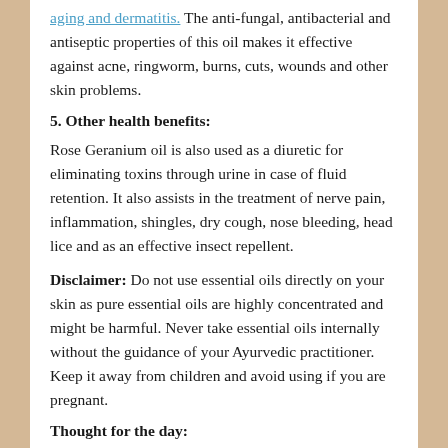aging and dermatitis. The anti-fungal, antibacterial and antiseptic properties of this oil makes it effective against acne, ringworm, burns, cuts, wounds and other skin problems.
5. Other health benefits:
Rose Geranium oil is also used as a diuretic for eliminating toxins through urine in case of fluid retention. It also assists in the treatment of nerve pain, inflammation, shingles, dry cough, nose bleeding, head lice and as an effective insect repellent.
Disclaimer: Do not use essential oils directly on your skin as pure essential oils are highly concentrated and might be harmful. Never take essential oils internally without the guidance of your Ayurvedic practitioner. Keep it away from children and avoid using if you are pregnant.
Thought for the day:
The one secret to the art of the best...